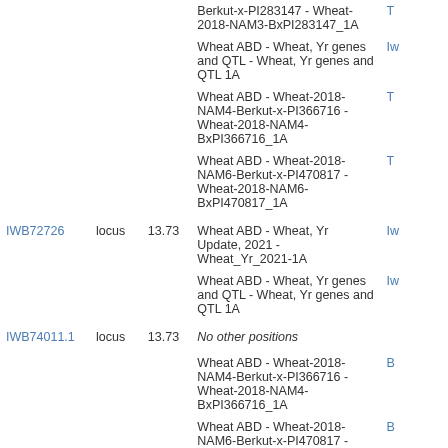| Marker | Type | Position | Map Name | Right col |
| --- | --- | --- | --- | --- |
|  |  |  | Berkut-x-PI283147 - Wheat-2018-NAM3-BxPI283147_1A | T |
|  |  |  | Wheat ABD - Wheat, Yr genes and QTL - Wheat, Yr genes and QTL 1A | Iw |
|  |  |  | Wheat ABD - Wheat-2018-NAM4-Berkut-x-PI366716 - Wheat-2018-NAM4-BxPI366716_1A | T |
|  |  |  | Wheat ABD - Wheat-2018-NAM6-Berkut-x-PI470817 - Wheat-2018-NAM6-BxPI470817_1A | T |
| IWB72726 | locus | 13.73 | Wheat ABD - Wheat, Yr Update, 2021 - Wheat_Yr_2021-1A | Iw |
|  |  |  | Wheat ABD - Wheat, Yr genes and QTL - Wheat, Yr genes and QTL 1A | Iw |
| IWB74011.1 | locus | 13.73 | No other positions |  |
|  |  |  | Wheat ABD - Wheat-2018-NAM4-Berkut-x-PI366716 - Wheat-2018-NAM4-BxPI366716_1A | B |
|  |  |  | Wheat ABD - Wheat-2018-NAM6-Berkut-x-PI470817 - Wheat-2018-NAM6-BxPI470817_1A | B |